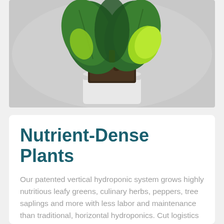[Figure (photo): Close-up photograph of a young plant seedling with large green leaves growing from a dark soil plug, placed in a white/silver hydroponic container, against a light grey background.]
Nutrient-Dense Plants
Our patented vertical hydroponic system grows highly nutritious leafy greens, culinary herbs, peppers, tree saplings and more with less labor and maintenance than traditional, horizontal hydroponics. Cut logistics costs and shorten the farm-